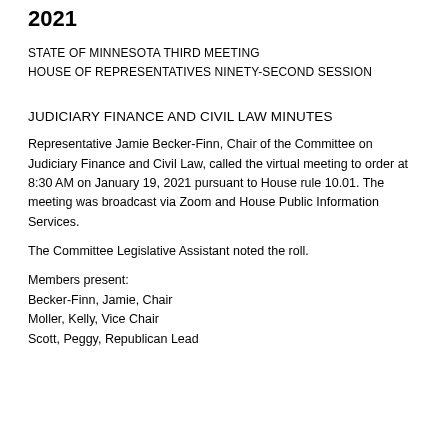2021
STATE OF MINNESOTA THIRD MEETING
HOUSE OF REPRESENTATIVES NINETY-SECOND SESSION
JUDICIARY FINANCE AND CIVIL LAW MINUTES
Representative Jamie Becker-Finn, Chair of the Committee on Judiciary Finance and Civil Law, called the virtual meeting to order at 8:30 AM on January 19, 2021 pursuant to House rule 10.01. The meeting was broadcast via Zoom and House Public Information Services.
The Committee Legislative Assistant noted the roll.
Members present:
Becker-Finn, Jamie, Chair
Moller, Kelly, Vice Chair
Scott, Peggy, Republican Lead